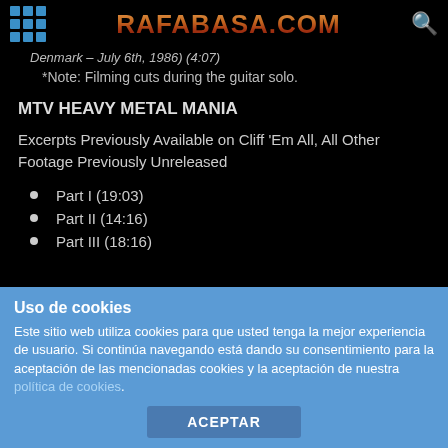RAFABASA.COM
Denmark – July 6th, 1986) (4:07)
*Note: Filming cuts during the guitar solo.
MTV HEAVY METAL MANIA
Excerpts Previously Available on Cliff 'Em All, All Other Footage Previously Unreleased
Part I (19:03)
Part II (14:16)
Part III (18:16)
Uso de cookies
Este sitio web utiliza cookies para que usted tenga la mejor experiencia de usuario. Si continúa navegando está dando su consentimiento para la aceptación de las mencionadas cookies y la aceptación de nuestra política de cookies.